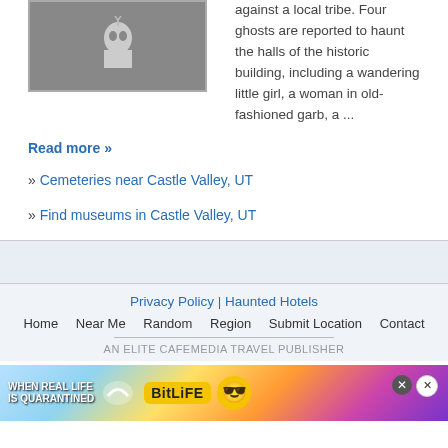[Figure (illustration): Dark gray image placeholder with a small ghost/bird icon in the center]
against a local tribe. Four ghosts are reported to haunt the halls of the historic building, including a wandering little girl, a woman in old-fashioned garb, a ...
Read more »
» Cemeteries near Castle Valley, UT
» Find museums in Castle Valley, UT
Privacy Policy | Haunted Hotels
Home   Near Me   Random   Region   Submit Location   Contact
AN ELITE CAFEMEDIA TRAVEL PUBLISHER
[Figure (infographic): BitLife advertisement banner: colorful rainbow background with 'WHEN REAL LIFE IS QUARANTINED' text and BitLife logo with emoji characters]